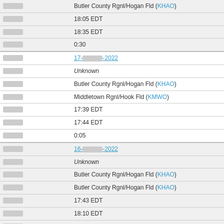| Field | Value |
| --- | --- |
| [redacted] | Butler County Rgnl/Hogan Fld (KHAO) |
| [redacted] | 18:05 EDT |
| [redacted] | 18:35 EDT |
| [redacted] | 0:30 |
| [redacted] (date) | 17-[redacted]-2022 |
| [redacted] | Unknown |
| [redacted] | Butler County Rgnl/Hogan Fld (KHAO) |
| [redacted] | Middletown Rgnl/Hook Fld (KMWO) |
| [redacted] | 17:39 EDT |
| [redacted] | 17:44 EDT |
| [redacted] | 0:05 |
| [redacted] (date) | 16-[redacted]-2022 |
| [redacted] | Unknown |
| [redacted] | Butler County Rgnl/Hogan Fld (KHAO) |
| [redacted] | Butler County Rgnl/Hogan Fld (KHAO) |
| [redacted] | 17:43 EDT |
| [redacted] | 18:10 EDT |
| [redacted] | 0:27 |
| [redacted] (date) | 15-[redacted]-2022 |
| [redacted] | Unknown |
| [redacted] | Butler County Rgnl/Hogan Fld (KHAO) |